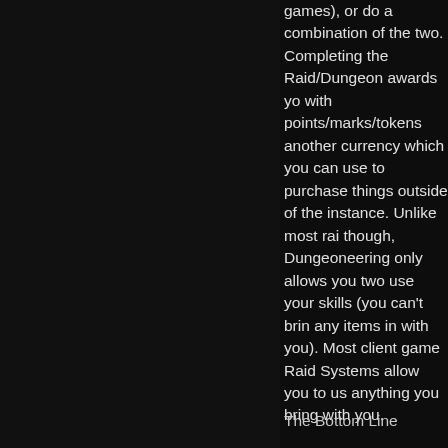games), or do a combination of the two. Completing the Raid/Dungeon awards you with points/marks/tokens another currency which you can use to purchase things outside of the instance. Unlike most raids though, Dungeoneering only allows you two use your skills (you can't bring any items in with you). Most client game Raid Systems allow you to use anything you bring with you.
The Bottom Line